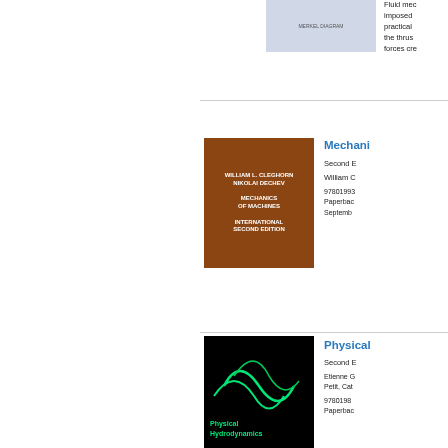[Figure (photo): Book cover - partially visible at top, light blue/grey cover]
Fluid mec imposed practical the thrus forces cre
[Figure (photo): Book cover - Mechanics of Machines, Second Edition, brown/orange cover with gear imagery]
Mechanics of Machines
Second Edition
William C...
9780199... Paperback September...
[Figure (photo): Book cover - Physical Hydrodynamics, Second Edition, black cover with green swirl]
Physical Hydrodynamics
Second Edition
Etienne G... Petit, Cat...
9780198... Paperback...